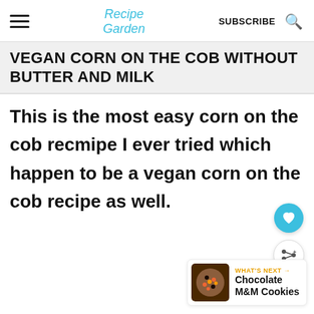Recipe Garden | SUBSCRIBE
VEGAN CORN ON THE COB WITHOUT BUTTER AND MILK
This is the most easy corn on the cob recmipe I ever tried which happen to be a vegan corn on the cob recipe as well.
[Figure (other): Chocolate M&M Cookies thumbnail image]
WHAT'S NEXT → Chocolate M&M Cookies